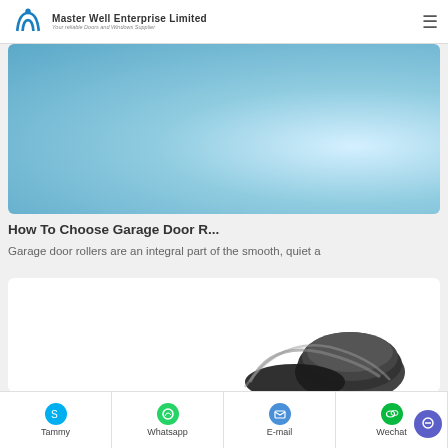Master Well Enterprise Limited — Your reliable Doors and Windows Supplier
[Figure (illustration): Light blue gradient banner image used as article card thumbnail]
How To Choose Garage Door R...
Garage door rollers are an integral part of the smooth, quiet a...
[Figure (photo): White card with a photo of black garage door rollers/coiled tracks at the bottom]
Tammy | Whatsapp | E-mail | Wechat